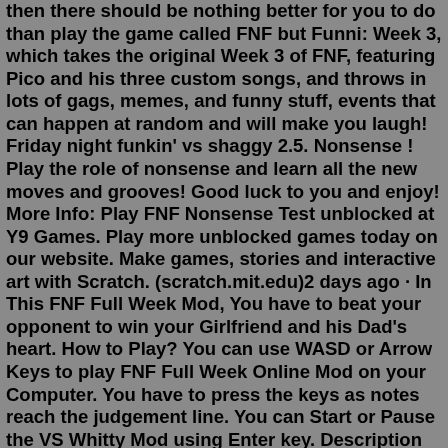then there should be nothing better for you to do than play the game called FNF but Funni: Week 3, which takes the original Week 3 of FNF, featuring Pico and his three custom songs, and throws in lots of gags, memes, and funny stuff, events that can happen at random and will make you laugh! Friday night funkin' vs shaggy 2.5. Nonsense ! Play the role of nonsense and learn all the new moves and grooves! Good luck to you and enjoy! More Info: Play FNF Nonsense Test unblocked at Y9 Games. Play more unblocked games today on our website. Make games, stories and interactive art with Scratch. (scratch.mit.edu)2 days ago · In This FNF Full Week Mod, You have to beat your opponent to win your Girlfriend and his Dad's heart. How to Play? You can use WASD or Arrow Keys to play FNF Full Week Online Mod on your Computer. You have to press the keys as notes reach the judgement line. You can Start or Pause the VS Whitty Mod using Enter key. Description Hard challenges and new enemies are waiting for you in the new cool music game mod!